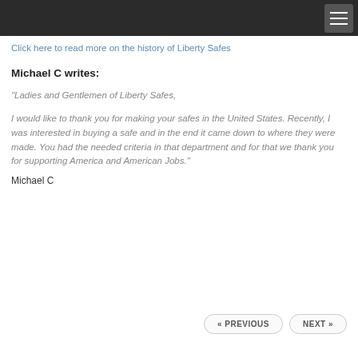Click here to read more on the history of Liberty Safes
Michael C writes:
"Ladies and Gentlemen of Liberty Safes,

I would like to thank you for making your safes in the United States. Recently, I was interested in buying a safe and in the end it came down to where they were made. You had the needed criteria in that department and for that we thank you for supporting America and American Jobs."
Michael C